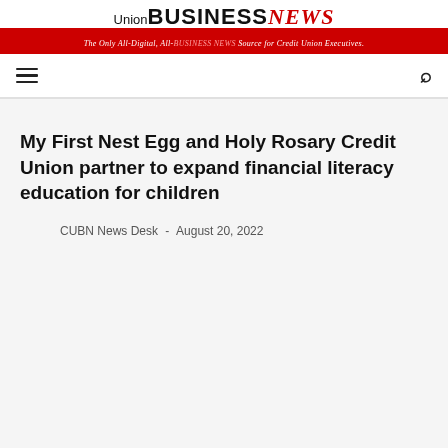Union BUSINESS NEWS — The Only All-Digital, All-BUSINESS NEWS Source for Credit Union Executives.
My First Nest Egg and Holy Rosary Credit Union partner to expand financial literacy education for children
CUBN News Desk - August 20, 2022